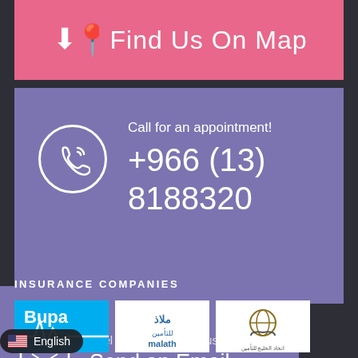Find Us On Map
Call for an appointment!
+966 (13)
8188320
Feel free to message us!
Send an Email
INSURANCE COMPANIES
[Figure (logo): Bupa logo with heartbeat line on blue background]
[Figure (logo): Malath insurance logo with Arabic text]
[Figure (logo): Gulf insurance company logo with globe and hands]
English